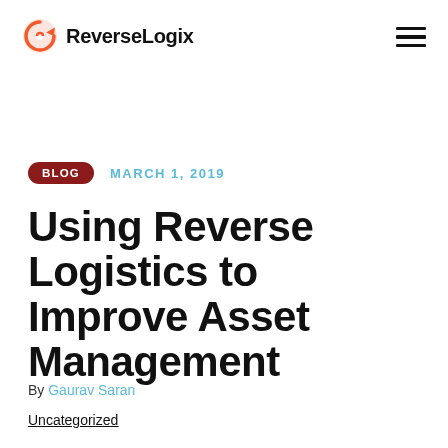ReverseLogix
BLOG   MARCH 1, 2019
Using Reverse Logistics to Improve Asset Management
By Gaurav Saran
Uncategorized